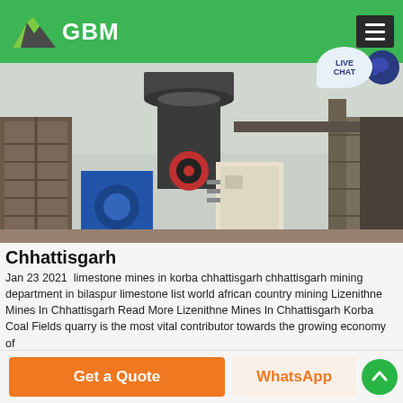GBM
[Figure (photo): Industrial mining machinery and equipment outdoors — large cylindrical crusher/mill tower, blue electric motors, scaffolding stairs, piping and structural steelwork]
Chhattisgarh
Jan 23 2021  limestone mines in korba chhattisgarh chhattisgarh mining department in bilaspur limestone list world african country mining Lizenithne Mines In Chhattisgarh Read More Lizenithne Mines In Chhattisgarh Korba Coal Fields quarry is the most vital contributor towards the growing economy of